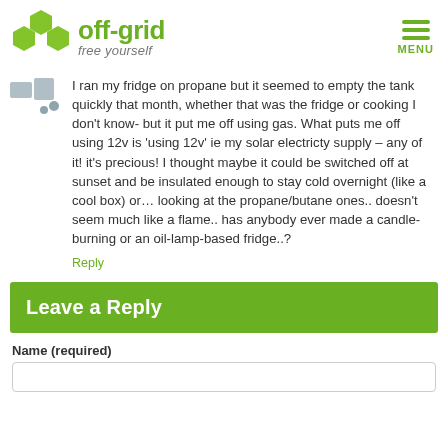off-grid free yourself
I ran my fridge on propane but it seemed to empty the tank quickly that month, whether that was the fridge or cooking I don't know- but it put me off using gas. What puts me off using 12v is 'using 12v' ie my solar electricty supply – any of it! it's precious! I thought maybe it could be switched off at sunset and be insulated enough to stay cold overnight (like a cool box) or… looking at the propane/butane ones.. doesn't seem much like a flame.. has anybody ever made a candle-burning or an oil-lamp-based fridge..?
Reply
Leave a Reply
Name (required)